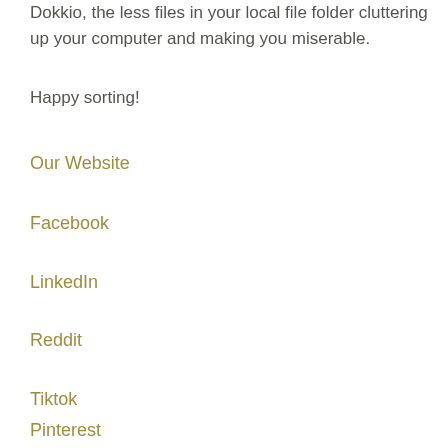Dokkio, the less files in your local file folder cluttering up your computer and making you miserable.
Happy sorting!
Our Website
Facebook
LinkedIn
Reddit
Tiktok
Pinterest